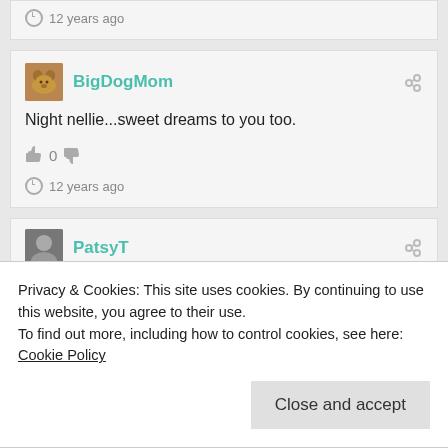12 years ago
BigDogMom
Night nellie...sweet dreams to you too.
0
12 years ago
PatsyT
Privacy & Cookies: This site uses cookies. By continuing to use this website, you agree to their use.
To find out more, including how to control cookies, see here: Cookie Policy
Close and accept